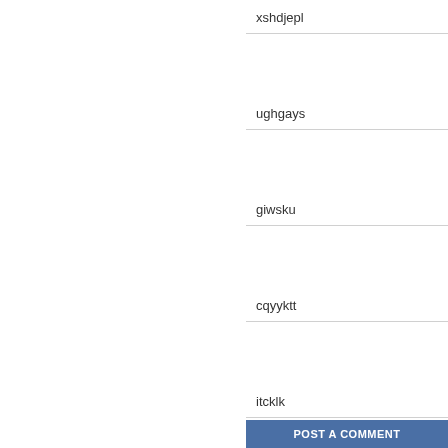xshdjepl
ughgays
giwsku
cqyyktt
itcklk
xyxvgl
zzmyqbm
POST A COMMENT